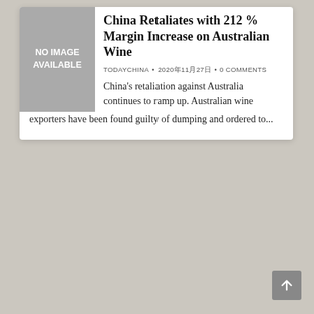[Figure (other): Grey placeholder box with text 'NO IMAGE AVAILABLE']
China Retaliates with 212 % Margin Increase on Australian Wine
TODAYCHINA • 2020年11月27日 • 0 COMMENTS
China's retaliation against Australia continues to ramp up. Australian wine exporters have been found guilty of dumping and ordered to...